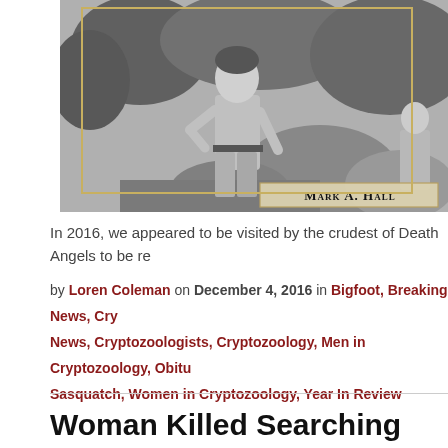[Figure (photo): Black and white photograph of a man standing outdoors near rocks and trees, with a caption bar reading 'Mark A. Hall' in small-caps serif font]
In 2016, we appeared to be visited by the crudest of Death Angels to be re
by Loren Coleman on December 4, 2016 in Bigfoot, Breaking News, Cry News, Cryptozoologists, Cryptozoology, Men in Cryptozoology, Obitu Sasquatch, Women in Cryptozoology, Year In Review
Woman Killed Searching For Pope Lick Mo